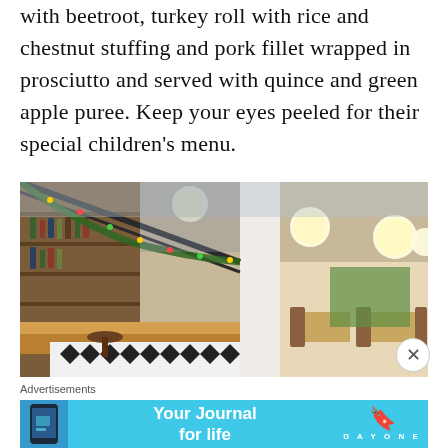with beetroot, turkey roll with rice and chestnut stuffing and pork fillet wrapped in prosciutto and served with quince and green apple puree. Keep your eyes peeled for their special children's menu.
[Figure (photo): Interior of a restaurant decorated for Christmas, showing a bar counter with bottles, black-and-white diamond tile pattern flooring, globe pendant lights, and dining area with tables and chairs. Christmas garlands hang from the ceiling.]
Advertisements
[Figure (infographic): Advertisement banner for Day One journal app with cyan/blue background. Shows text 'Your Journal for life' in bold white on left, phone mockup on far left, and Day One logo (bookmark icon with text DAYONE) on right.]